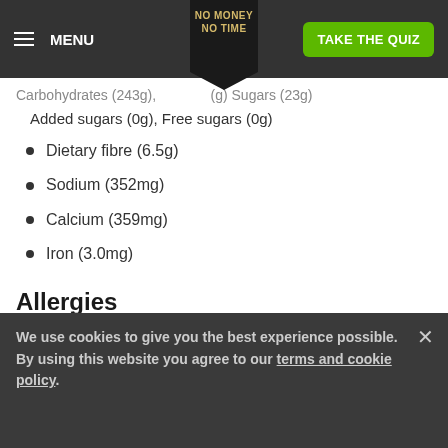MENU | NO MONEY NO TIME | TAKE THE QUIZ
Carbohydrates (243g), ...(g) Sugars (23g) Added sugars (0g), Free sugars (0g)
Dietary fibre (6.5g)
Sodium (352mg)
Calcium (359mg)
Iron (3.0mg)
Allergies
Contains: Dairy, Eggs, FODMAPs.
We use cookies to give you the best experience possible. By using this website you agree to our terms and cookie policy.